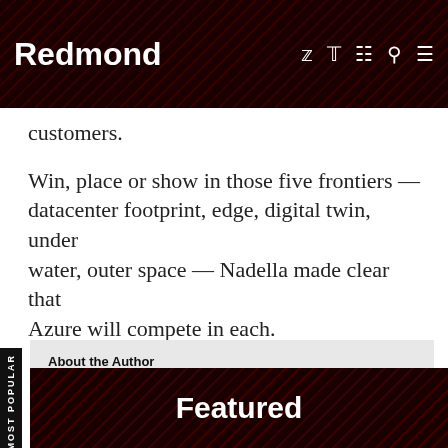Redmond
customers.
Win, place or show in those five frontiers -- datacenter footprint, edge, digital twin, under water, outer space -- Nadella made clear that Azure will compete in each.
MOST POPULAR
About the Author
Scott Bekker is editor in chief of Redmond Channel Partner magazine.
Featured